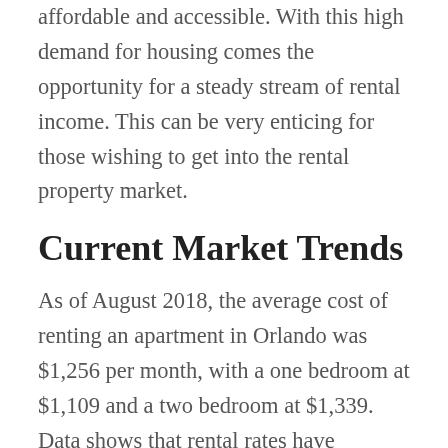affordable and accessible. With this high demand for housing comes the opportunity for a steady stream of rental income. This can be very enticing for those wishing to get into the rental property market.
Current Market Trends
As of August 2018, the average cost of renting an apartment in Orlando was $1,256 per month, with a one bedroom at $1,109 and a two bedroom at $1,339. Data shows that rental rates have continued to steadily climb over the past six months.
Rent for one and two bedroom apartments have increased in value by roughly 3.7% and 3.4% respectively. This positive rental trend